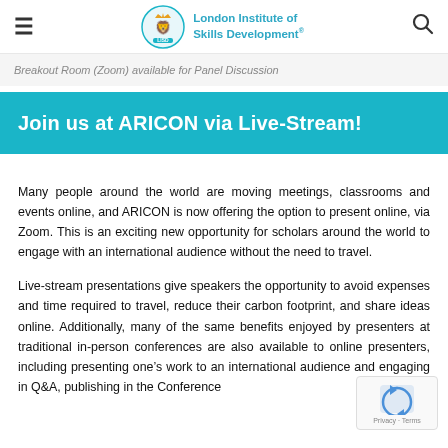London Institute of Skills Development
Breakout Room (Zoom) available for Panel Discussion
Join us at ARICON via Live-Stream!
Many people around the world are moving meetings, classrooms and events online, and ARICON is now offering the option to present online, via Zoom. This is an exciting new opportunity for scholars around the world to engage with an international audience without the need to travel.
Live-stream presentations give speakers the opportunity to avoid expenses and time required to travel, reduce their carbon footprint, and share ideas online. Additionally, many of the same benefits enjoyed by presenters at traditional in-person conferences are also available to online presenters, including presenting one's work to an international audience and engaging in Q&A, publishing in the Conference